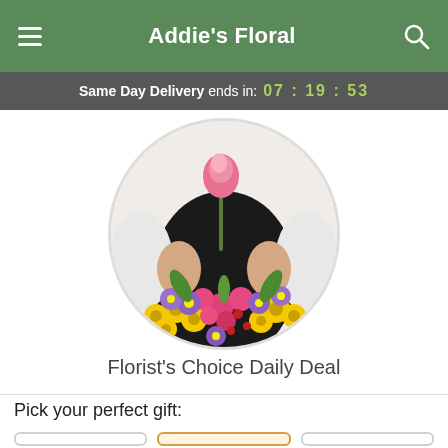Addie's Floral
Same Day Delivery ends in: 07 : 19 : 53
[Figure (photo): A florist in a black apron holding a pink rose with a colorful mixed flower bouquet including yellow daisies, pink roses, purple asters, and red blooms, shown in a circular crop.]
Florist's Choice Daily Deal
Pick your perfect gift: